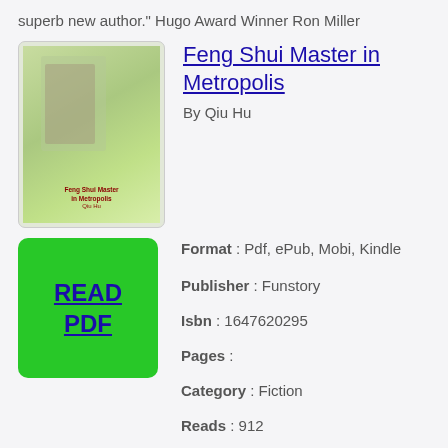superb new author." Hugo Award Winner Ron Miller
Feng Shui Master in Metropolis
By Qiu Hu
[Figure (photo): Book cover of Feng Shui Master in Metropolis by Qiu Hu]
[Figure (other): Green READ PDF button]
Format : Pdf, ePub, Mobi, Kindle
Publisher : Funstory
Isbn : 1647620295
Pages :
Category : Fiction
Reads : 912